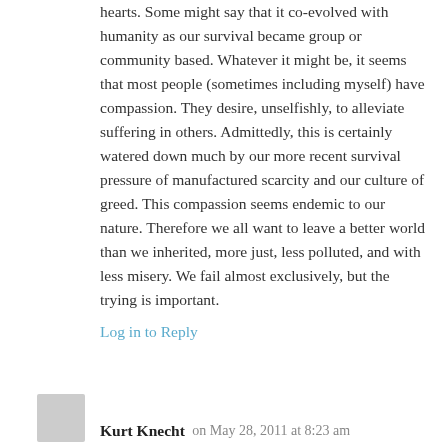hearts. Some might say that it co-evolved with humanity as our survival became group or community based. Whatever it might be, it seems that most people (sometimes including myself) have compassion. They desire, unselfishly, to alleviate suffering in others. Admittedly, this is certainly watered down much by our more recent survival pressure of manufactured scarcity and our culture of greed. This compassion seems endemic to our nature. Therefore we all want to leave a better world than we inherited, more just, less polluted, and with less misery. We fail almost exclusively, but the trying is important.
Log in to Reply
Kurt Knecht on May 28, 2011 at 8:23 am